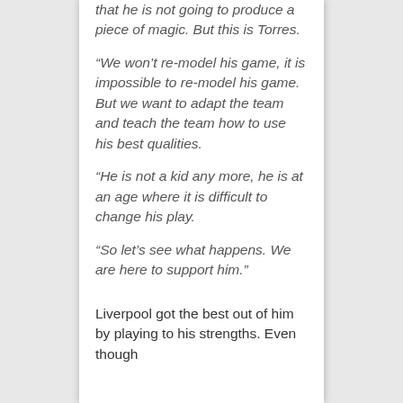that he is not going to produce a piece of magic. But this is Torres.
“We won’t re-model his game, it is impossible to re-model his game. But we want to adapt the team and teach the team how to use his best qualities.
“He is not a kid any more, he is at an age where it is difficult to change his play.
“So let’s see what happens. We are here to support him.”
Liverpool got the best out of him by playing to his strengths. Even though